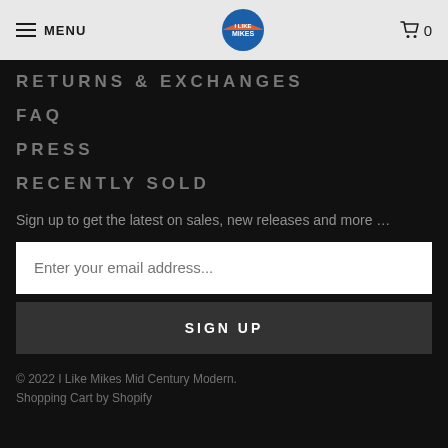MENU | I Like Mikes | 0
RETURNS & EXCHANGES
FAQ
PRESS
RECENTLY SOLD
Sign up to get the latest on sales, new releases and more …
Enter your email address...
SIGN UP
© 2022 I Like Mikes Mid Century Modern. Shopping Cart by Shopify